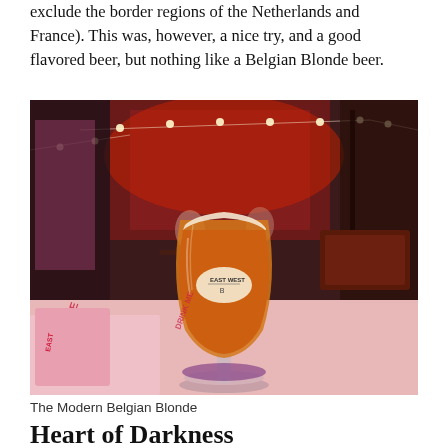exclude the border regions of the Netherlands and France). This was, however, a nice try, and a good flavored beer, but nothing like a Belgian Blonde beer.
[Figure (photo): A beer glass with an East West label containing an amber/red beer on a table with a drink menu, in a dimly lit restaurant/bar with red lighting, string lights, and seating in the background.]
The Modern Belgian Blonde
Heart of Darkness